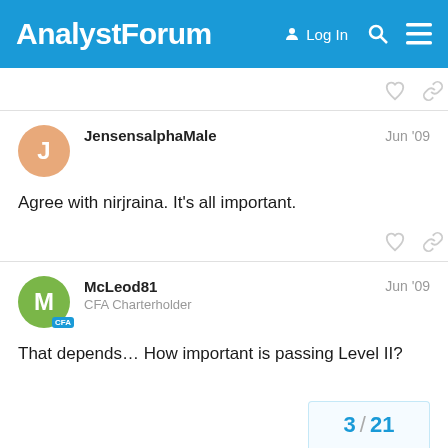AnalystForum — Log In
JensensalphaMale  Jun '09
Agree with nirjraina. It's all important.
McLeod81  Jun '09
CFA Charterholder
That depends… How important is passing Level II?
3 / 21